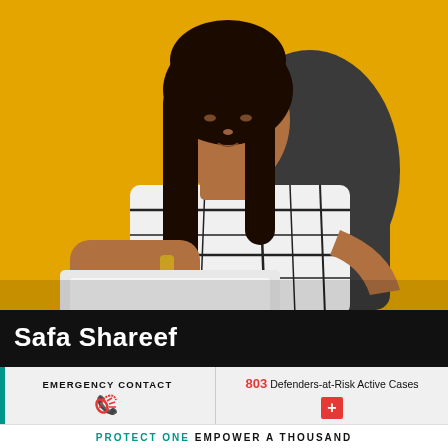[Figure (photo): A woman with long dark hair wearing a white and black plaid short-sleeve top sits at a desk reading/writing documents. Background is yellow/orange. She appears to be in a professional setting.]
Safa Shareef
EMERGENCY CONTACT
803 Defenders-at-Risk Active Cases
PROTECT ONE EMPOWER A THOUSAND